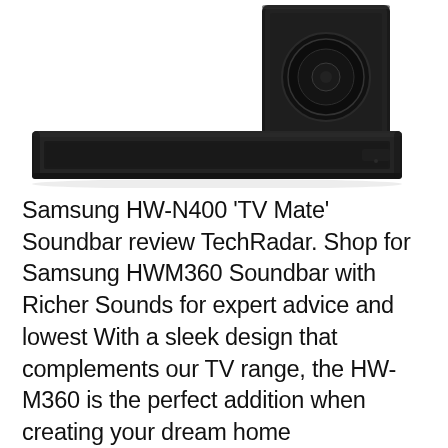[Figure (photo): Samsung soundbar (HW-K360/HW-M360 style) with wireless subwoofer, both in black, photographed on white background]
Samsung HW-N400 'TV Mate' Soundbar review TechRadar. Shop for Samsung HWM360 Soundbar with Richer Sounds for expert advice and lowest With a sleek design that complements our TV range, the HW-M360 is the perfect addition when creating your dream home entertainment Rated 2 out of 5 by Rustie from Easy set up Went by WHICH review. Not sure what I expected from a sound bar. I 26/04/2017B B· Testing Samsung HW-K360 Soundbar130W